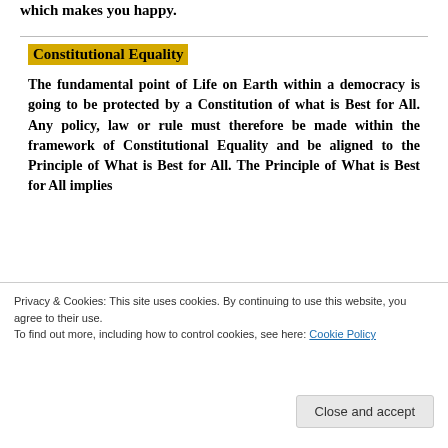which makes you happy.
Constitutional Equality
The fundamental point of Life on Earth within a democracy is going to be protected by a Constitution of what is Best for All. Any policy, law or rule must therefore be made within the framework of Constitutional Equality and be aligned to the Principle of What is Best for All. The Principle of What is Best for All implies
Privacy & Cookies: This site uses cookies. By continuing to use this website, you agree to their use. To find out more, including how to control cookies, see here: Cookie Policy
Close and accept
Do Unto Another as You Would Like to Be Done